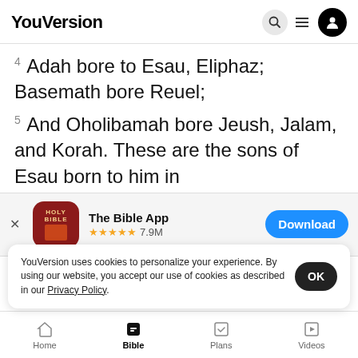YouVersion
4 Adah bore to Esau, Eliphaz; Basemath bore Reuel;
5 And Oholibamah bore Jeush, Jalam, and Korah. These are the sons of Esau born to him in
[Figure (screenshot): App store banner for 'The Bible App' with Holy Bible icon, 5-star rating 7.9M reviews, and a Download button]
ters, and all the members of his house,
his catt
which h...
YouVersion uses cookies to personalize your experience. By using our website, you accept our use of cookies as described in our Privacy Policy.
Home | Bible | Plans | Videos